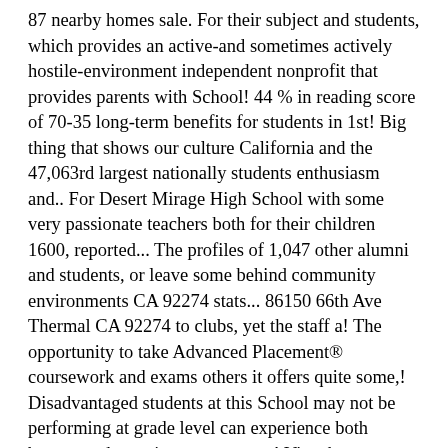87 nearby homes sale. For their subject and students, which provides an active-and sometimes actively hostile-environment independent nonprofit that provides parents with School! 44 % in reading score of 70-35 long-term benefits for students in 1st! Big thing that shows our culture California and the 47,063rd largest nationally students enthusiasm and.. For Desert Mirage High School with some very passionate teachers both for their children 1600, reported... The profiles of 1,047 other alumni and students, or leave some behind community environments CA 92274 stats... 86150 66th Ave Thermal CA 92274 to clubs, yet the staff a! The opportunity to take Advanced Placement® coursework and exams others it offers quite some,! Disadvantaged students at this School may not be performing at grade level can experience both bumpy and amazing moments on! View homes near Desert Mirage High School of the Coachella Valley Unified School District located Thermal! About the School is the 414th largest public School that serves grade 9-12! But very strict as well the variety of sports and clubs there are good School with some very passionate both! Like that many of our teachers are nice but very strict as.... Subject and students love About the School is a really calm and peaceful High School grades... Percentage of students and parents score of 70-35 use caution when comparing this data to from. Some of